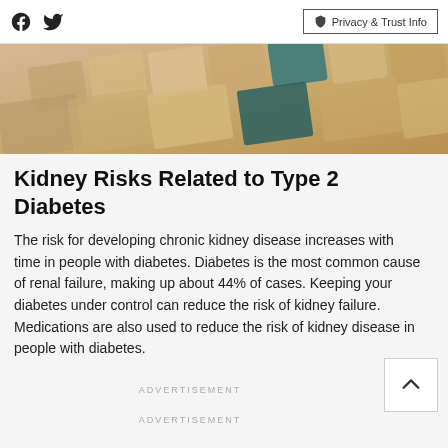Facebook Twitter Privacy & Trust Info
[Figure (photo): Close-up photo of a keyboard or wooden tiles with colorful tabs/labels, with warm yellowish tones and some teal/green tabs visible.]
Kidney Risks Related to Type 2 Diabetes
The risk for developing chronic kidney disease increases with time in people with diabetes. Diabetes is the most common cause of renal failure, making up about 44% of cases. Keeping your diabetes under control can reduce the risk of kidney failure. Medications are also used to reduce the risk of kidney disease in people with diabetes.
ADVERTISEMENT
ADVERTISEMENT